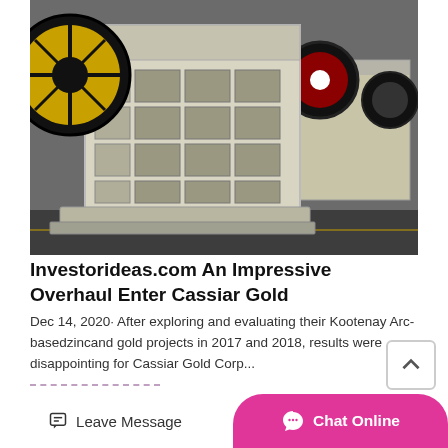[Figure (photo): Industrial jaw crusher machine, white/grey colored, with large yellow and black flywheel on the left and red/black wheels on the right, set in an industrial warehouse floor]
Investorideas.com An Impressive Overhaul Enter Cassiar Gold
Dec 14, 2020· After exploring and evaluating their Kootenay Arc-basedzincand gold projects in 2017 and 2018, results were disappointing for Cassiar Gold Corp...